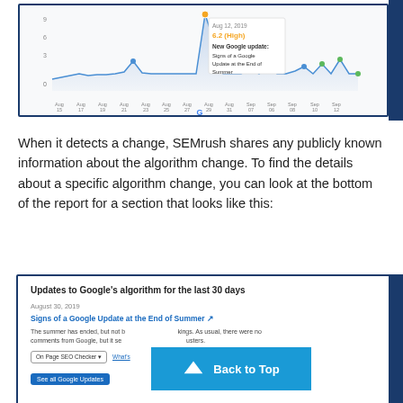[Figure (screenshot): Screenshot of SEMrush Sensor tool showing a line chart with algorithm volatility data from Aug 15 to Sep 12, with a tooltip showing Aug 12, 2019: 6.2 (High) - New Google update: Signs of a Google Update at the End of Summer]
When it detects a change, SEMrush shares any publicly known information about the algorithm change. To find the details about a specific algorithm change, you can look at the bottom of the report for a section that looks like this:
[Figure (screenshot): Screenshot showing 'Updates to Google's algorithm for the last 30 days' section with date August 30, 2019, title 'Signs of a Google Update at the End of Summer', description text, On Page SEO Checker button, What's button, See all Google Updates button, and a Back to Top overlay button]